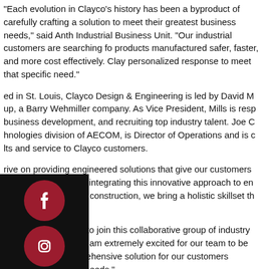“Each evolution in Clayco’s history has been a byproduct of carefully crafting a solution to meet their greatest business needs,” said Anthony Industrial Business Unit. “Our industrial customers are searching for products manufactured safer, faster, and more cost effectively. Clayco’s personalized response to meet that specific need.”
ed in St. Louis, Clayco Design & Engineering is led by David M up, a Barry Wehmiller company. As Vice President, Mills is responsible for business development, and recruiting top industry talent. Joe C hnologies division of AECOM, is Director of Operations and is committed to lts and service to Clayco customers.
[Figure (infographic): Social media icon bar with Facebook, Instagram, Twitter, and LinkedIn icons in dark red circles on a black background panel.]
rive on providing engineered solutions that give our customers ness,” said Mills. “By integrating this innovative approach to engineering roach to design-build construction, we bring a holistic skillset that is all under one roof.”
It is a great privilege to join this collaborative group of industry experts, said Crawford. “I am extremely excited for our team to be able to provide a and comprehensive solution for our customers processing, product needs.”
Clayco Design & Engineering provides clients with fully integrated Piping, Electrical, and Low Voltage Design and Engineering services.